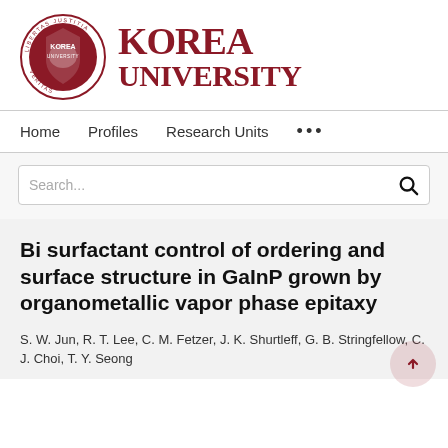[Figure (logo): Korea University logo with seal and text 'KOREA UNIVERSITY' in dark red/maroon]
Home   Profiles   Research Units   ...
Search...
Bi surfactant control of ordering and surface structure in GaInP grown by organometallic vapor phase epitaxy
S. W. Jun, R. T. Lee, C. M. Fetzer, J. K. Shurtleff, G. B. Stringfellow, C. J. Choi, T. Y. Seong